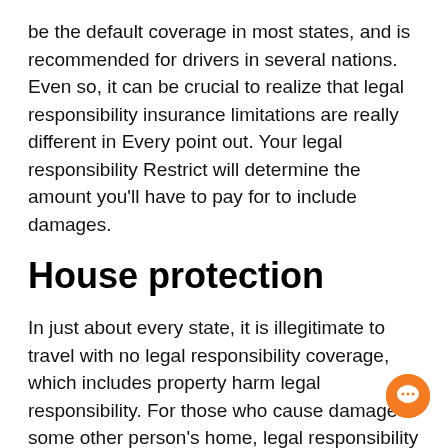be the default coverage in most states, and is recommended for drivers in several nations. Even so, it can be crucial to realize that legal responsibility insurance limitations are really different in Every point out. Your legal responsibility Restrict will determine the amount you'll have to pay for to include damages.
House protection
In just about every state, it is illegitimate to travel with no legal responsibility coverage, which includes property harm legal responsibility. For those who cause damage to some other person's home, legal responsibility protection pays for repairs. On the other hand, your automobile insurance plan plan isn't going to cover your very own auto's damages. Your state might have diverse minimal prerequisites for liability coverage, so it's important to check your coverage prior to buying it. Assets coverage is usually vital in your fiscal stability. It helps you stay away from being left with big
[Figure (other): Orange circular chat/message bubble icon in bottom-right corner]